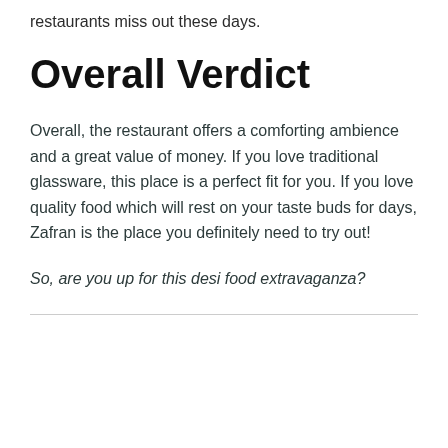restaurants miss out these days.
Overall Verdict
Overall, the restaurant offers a comforting ambience and a great value of money. If you love traditional glassware, this place is a perfect fit for you. If you love quality food which will rest on your taste buds for days, Zafran is the place you definitely need to try out!
So, are you up for this desi food extravaganza?